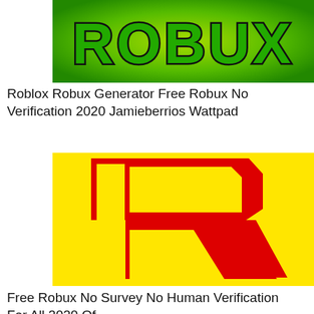[Figure (illustration): Roblox Robux logo with green background and bold green text reading ROBUX with black outline]
Roblox Robux Generator Free Robux No Verification 2020 Jamieberrios Wattpad
[Figure (logo): Roblox logo — large red letter R on a bright yellow background]
Free Robux No Survey No Human Verification For All 2020 Of...